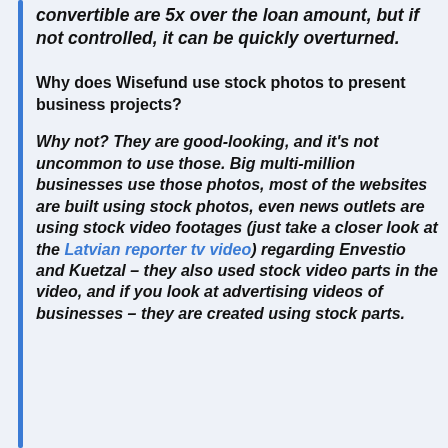convertible are 5x over the loan amount, but if not controlled, it can be quickly overturned.
Why does Wisefund use stock photos to present business projects?
Why not? They are good-looking, and it's not uncommon to use those. Big multi-million businesses use those photos, most of the websites are built using stock photos, even news outlets are using stock video footages (just take a closer look at the Latvian reporter tv video) regarding Envestio and Kuetzal – they also used stock video parts in the video, and if you look at advertising videos of businesses – they are created using stock parts.